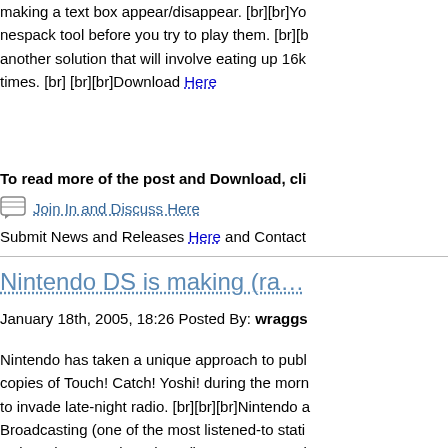making a text box appear/disappear. [br][br]You nespack tool before you try to play them. [br][br] another solution that will involve eating up 16k times. [br] [br][br]Download Here
To read more of the post and Download, cli
Join In and Discuss Here
Submit News and Releases Here and Contact
Nintendo DS is making (ra
January 18th, 2005, 18:26 Posted By: wraggs
Nintendo has taken a unique approach to publ copies of Touch! Catch! Yoshi! during the morn to invade late-night radio. [br][br][br]Nintendo a Broadcasting (one of the most listened-to stati Daigasshou! Band Brothers (known as Jam wi night for several weeks. [br][br]The company w can submit songs featuring instruments from th amateurs. [br][br]Songs will be judged on origi interesting, according to the station. All submis get to perform their music in a live broadcast u The winner will receive a free Nintendo DS an Brothers promotion may just be the beginning: bolstering the console's sales throughout Japa